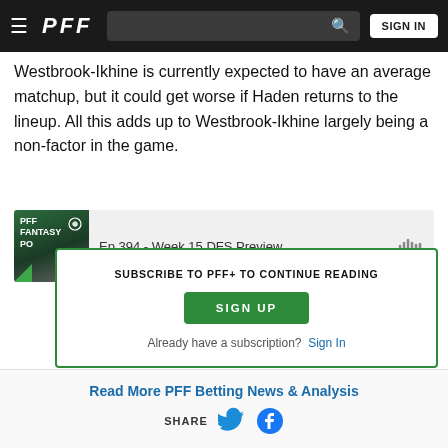PFF — SIGN IN
Westbrook-Ikhine is currently expected to have an average matchup, but it could get worse if Haden returns to the lineup. All this adds up to Westbrook-Ikhine largely being a non-factor in the game.
[Figure (other): PFF Fantasy Podcast widget — Ep 394 - Week 15 DFS Preview]
SUBSCRIBE TO PFF+ TO CONTINUE READING
SIGN UP
Already have a subscription?  Sign In
Read More PFF Betting News & Analysis
SHARE